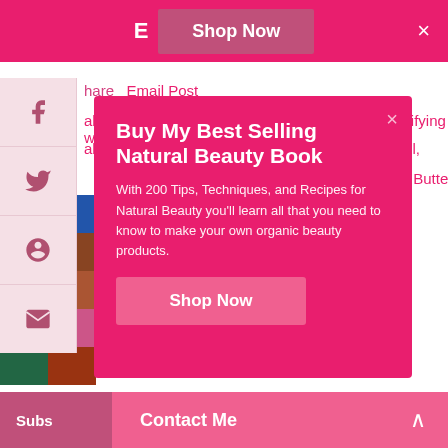E  Shop Now  ×
Share  Email Post
Labels: Body Care Recipes, bulgarian rose, Emulsifying wax,
abulous Facial Care, glycerine, macadamia nut oil,
Butter,
[Figure (illustration): Partial book cover image with colorful grid of ingredients]
[Figure (infographic): Pink modal popup: Buy My Best Selling Natural Beauty Book. With 200 Tips, Techniques, and Recipes for Natural Beauty you'll learn all that you need to know to make your own organic beauty products. Shop Now button.]
Fresh-Picked Beauty (TM)
Subs  Contact Me  ∧